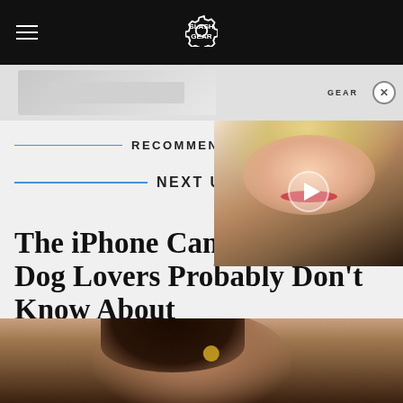SlashGear
[Figure (photo): Advertisement banner showing a white laptop/device on a light gray background, with SlashGear branding on the right side]
[Figure (photo): Video overlay showing a blonde woman's face with a play button, partially overlapping the page content]
RECOMMENDED
NEXT UP
The iPhone Camera Trick Dog Lovers Probably Don't Know About
[Figure (photo): Close-up photo of a woman with dark hair looking down at something, cropped at the bottom of the page]